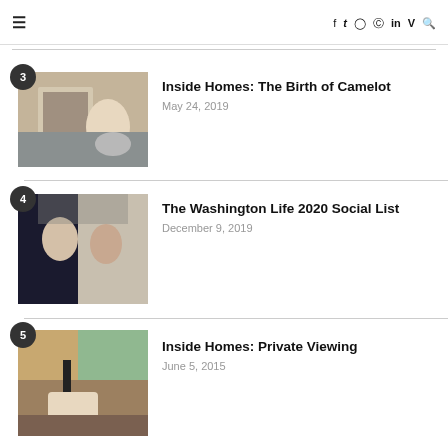≡  f  𝕏  ◎  𝗽  in  𝐕  🔍
[Figure (photo): Man sitting on a couch holding a framed black and white photograph, with a husky dog beside him]
Inside Homes: The Birth of Camelot
May 24, 2019
[Figure (photo): Man and woman posing on a staircase, man in dark suit, woman in grey outfit]
The Washington Life 2020 Social List
December 9, 2019
[Figure (photo): Modern interior with a couch, coffee table and large window with greenery outside]
Inside Homes: Private Viewing
June 5, 2015